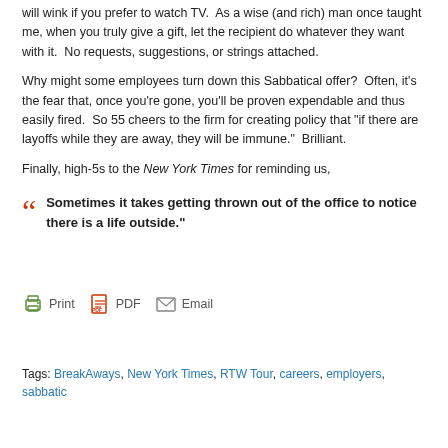will wink if you prefer to watch TV.  As a wise (and rich) man once taught me, when you truly give a gift, let the recipient do whatever they want with it.  No requests, suggestions, or strings attached.
Why might some employees turn down this Sabbatical offer?  Often, it's the fear that, once you're gone, you'll be proven expendable and thus easily fired.  So 55 cheers to the firm for creating policy that "if there are layoffs while they are away, they will be immune."  Brilliant.
Finally, high-5s to the New York Times for reminding us,
Sometimes it takes getting thrown out of the office to notice there is a life outside."
Print  PDF  Email
Tags: BreakAways, New York Times, RTW Tour, careers, employers, sabbatic